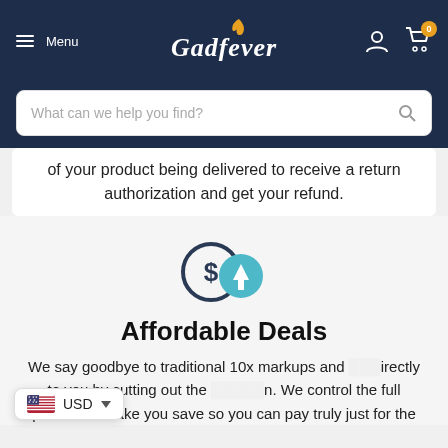Menu | Gadfever | Cart (0)
What can we help you find?
of your product being delivered to receive a return authorization and get your refund.
[Figure (illustration): Icon showing a dollar sign circle with a downward arrow circle overlapping, indicating price reduction or affordable deals]
Affordable Deals
We say goodbye to traditional 10x markups and [sell d]irectly to you by cutting out the [middlema]n. We control the full process & make you save so you can pay truly just for the